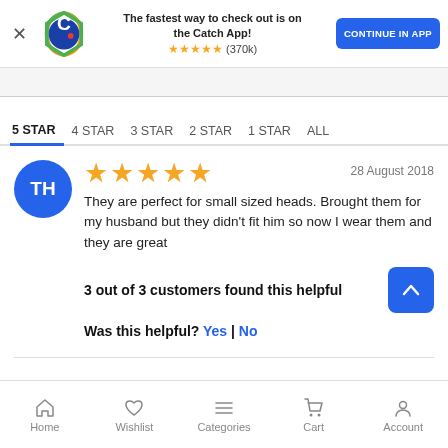[Figure (screenshot): Catch app promotional banner with logo, text 'The fastest way to check out is on the Catch App!', star rating (370k reviews), and 'CONTINUE IN APP' button]
5 STAR  4 STAR  3 STAR  2 STAR  1 STAR  ALL
TH - 28 August 2018 - 5 stars - They are perfect for small sized heads. Brought them for my husband but they didn't fit him so now I wear them and they are great
3 out of 3 customers found this helpful
Was this helpful? Yes |  No
Home  Wishlist  Categories  Cart  Account